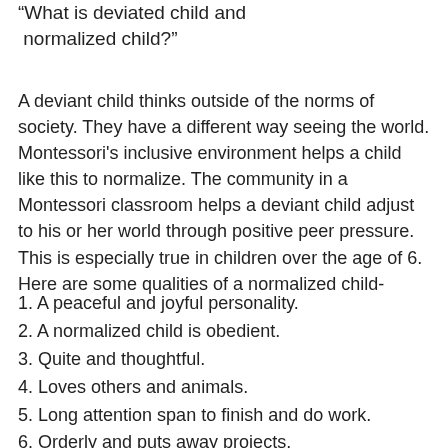“What is deviated child and normalized child?”
A deviant child thinks outside of the norms of society. They have a different way seeing the world. Montessori’s inclusive environment helps a child like this to normalize. The community in a Montessori classroom helps a deviant child adjust to his or her world through positive peer pressure. This is especially true in children over the age of 6. Here are some qualities of a normalized child-
1. A peaceful and joyful personality.
2. A normalized child is obedient.
3. Quite and thoughtful.
4. Loves others and animals.
5. Long attention span to finish and do work.
6. Orderly and puts away projects.
7. Helps take care of environment, plants, animals, and